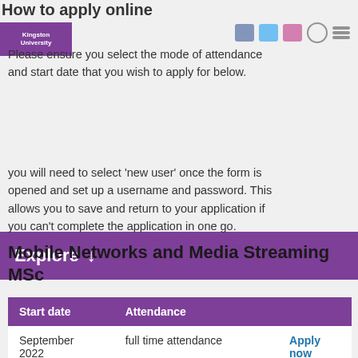How to apply online
Please ensure you select the mode of attendance and start date that you wish to apply for below.
[Figure (screenshot): Purple navigation bar with 'Explore' text and down arrow]
you will need to select 'new user' once the form is opened and set up a username and password. This allows you to save and return to your application if you can't complete the application in one go.
Mobile Networks and Media Streaming MSc
| Start date | Attendance |  |
| --- | --- | --- |
| September 2022 | full time attendance | Apply now |